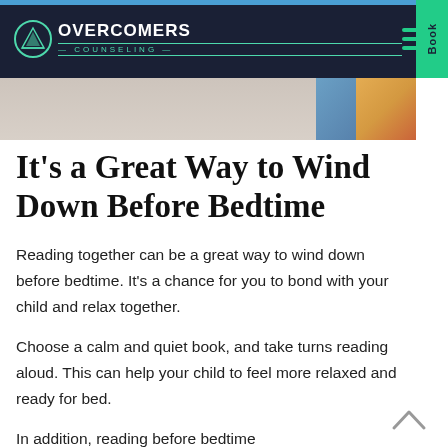Overcomers Counseling
[Figure (photo): Partial photo of child reading, cropped at top of page]
It's a Great Way to Wind Down Before Bedtime
Reading together can be a great way to wind down before bedtime. It's a chance for you to bond with your child and relax together.
Choose a calm and quiet book, and take turns reading aloud. This can help your child to feel more relaxed and ready for bed.
In addition, reading before bedtime